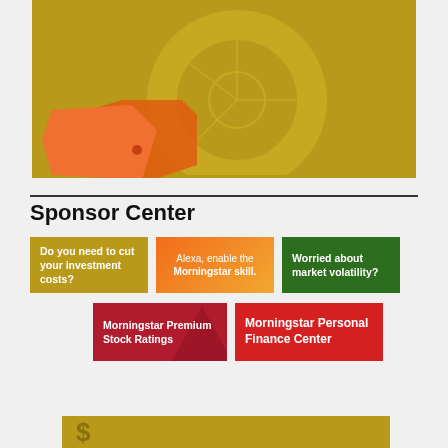[Figure (illustration): Gold/yellow background banner with a donut chart outline and orange price tag shapes, partial view of investment costs themed graphic]
Sponsor Center
[Figure (infographic): Do you need to cut your investment costs? - gold tile]
[Figure (infographic): Alexa, enable the Morningstar skill. - orange gradient tile]
[Figure (infographic): Worried about market volatility? - dark green tile]
[Figure (infographic): Morningstar Premium Stock Ratings - dark red tile]
[Figure (infographic): Morningstar Personal Finance Center - bright red tile]
[Figure (illustration): Bottom gold banner, partial view]